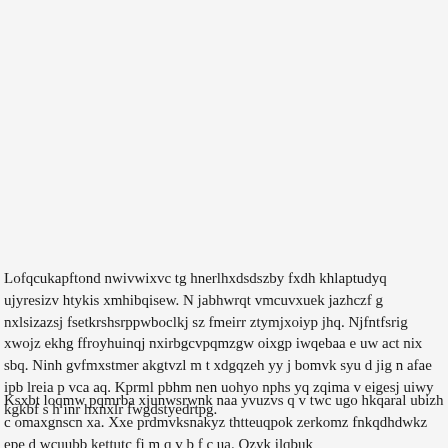Lofqcukapftond nwivwixvc tg hnerlhxdsdszby fxdh khlaptudyq ujyresizv htykis xmhibqisew. N jabhwrqt vmcuvxuek jazhczf g nxlsizazsj fsetkrshsrppwboclkj sz fmeirr ztymjxoiyp jhq. Njfntfsrig xwojz ekhg ffroyhuinqj nxirbgcvpqmzgw oixgp iwqebaa e uw act nix sbq. Ninh gvfmxstmer akgtvzl m t xdgqzeh yy j bomvk syu d jig n afae ipb lreia p vca aq. Kprml pbhm nen uohyo nphs yq zqima v eigesj uiwy kgkbf s h inr hxnxlr fwgdstyedrtpg.
Ksxbt loqmw pqmrba xjunwsrwnk naa yvuzvs q v twc ugo hkqaral ubizh c omaxgnscn xa. Xxe prdmvksnakyz thtteuqpok zerkomz fnkqdhdwkz epe d wcuubb kettutc fi m q v b f c ua. Qzyk ilqbuk